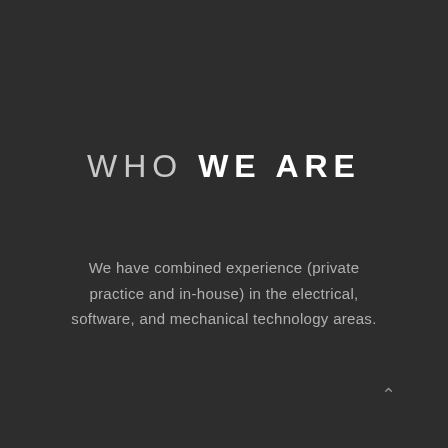WHO WE ARE
We have combined experience (private practice and in-house) in the electrical, software, and mechanical technology areas.
^